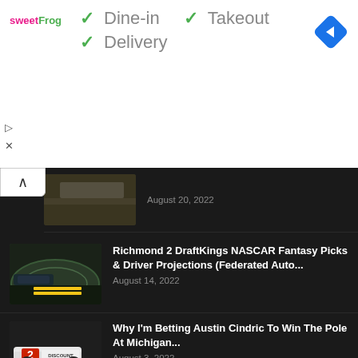[Figure (screenshot): sweetFrog ad banner with checkmarks for Dine-in, Takeout, Delivery and a blue navigation arrow icon]
✓ Dine-in ✓ Takeout ✓ Delivery
August 20, 2022
Richmond 2 DraftKings NASCAR Fantasy Picks & Driver Projections (Federated Auto...
August 14, 2022
Why I'm Betting Austin Cindric To Win The Pole At Michigan...
August 3, 2022
Pocono DraftKings NASCAR Fantasy Picks & Driver Projections (M&Ms Fan Appreciation...
July 24, 2022